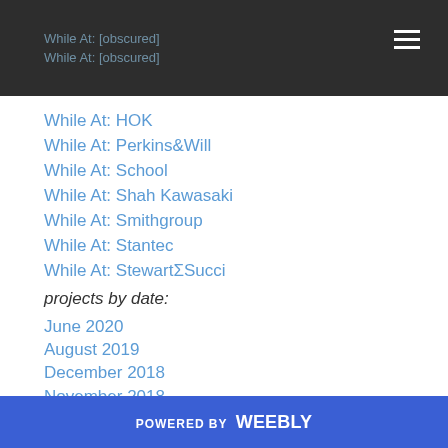While At: [obscured]
While At: [obscured]
While At: HOK
While At: Perkins&Will
While At: School
While At: Shah Kawasaki
While At: Smithgroup
While At: Stantec
While At: StewartΣSucci
projects by date:
June 2020
August 2019
December 2018
November 2018
October 2018
August 2018
POWERED BY weebly